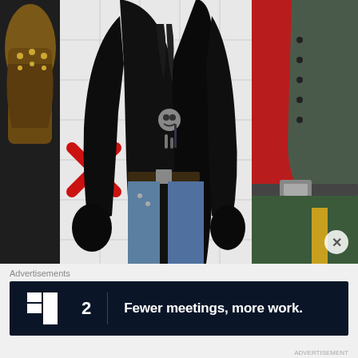[Figure (photo): Two people in costumes standing together. Central figure wears a black leather jacket with skull accessories, gloves, and jeans. Right figure wears a red and gray period costume with a belt buckle. A brown boot hangs on the left, and a red X mark is visible on the wall behind.]
Advertisements
[Figure (other): Advertisement banner with dark navy background. Shows Basecamp-style logo mark followed by '2' and text 'Fewer meetings, more work.']